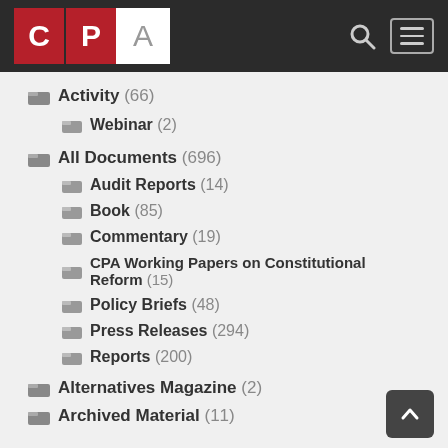[Figure (logo): CPA logo with red background for C and P, white background for A]
Activity (66)
Webinar (2)
All Documents (696)
Audit Reports (14)
Book (85)
Commentary (19)
CPA Working Papers on Constitutional Reform (15)
Policy Briefs (48)
Press Releases (294)
Reports (200)
Alternatives Magazine (2)
Archived Material (11)